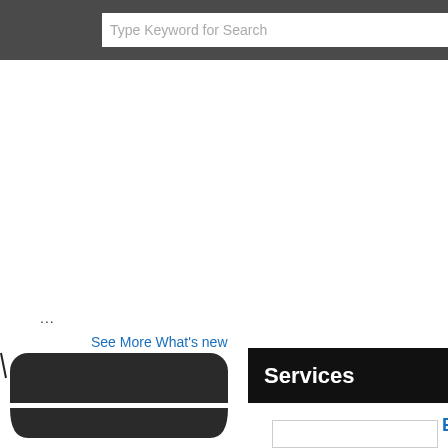Type Keyword for Search
...
See More What's new
[Figure (photo): Dark rounded electronic device, partially visible, bottom portion cropped]
Services
[Figure (photo): Small rectangular outlined image box, partially visible]
E